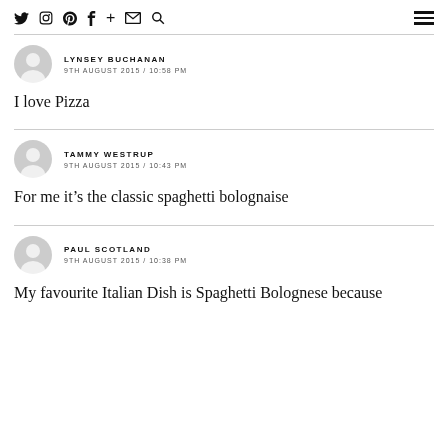Twitter Instagram Pinterest Facebook + Mail Search [hamburger menu]
LYNSEY BUCHANAN
9TH AUGUST 2015 / 10:58 PM
I love Pizza
TAMMY WESTRUP
9TH AUGUST 2015 / 10:43 PM
For me it’s the classic spaghetti bolognaise
PAUL SCOTLAND
9TH AUGUST 2015 / 10:38 PM
My favourite Italian Dish is Spaghetti Bolognese because